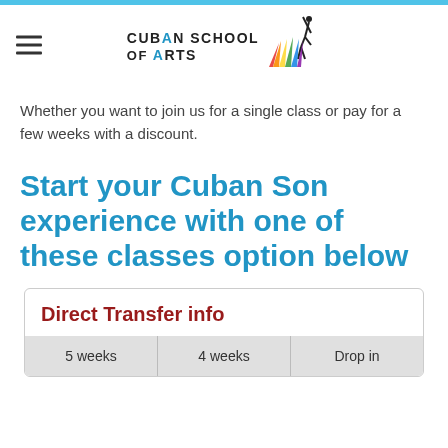CUBAN SCHOOL OF ARTS
Whether you want to join us for a single class or pay for a few weeks with a discount.
Start your Cuban Son experience with one of these classes option below
Direct Transfer info
| 5 weeks | 4 weeks | Drop in |
| --- | --- | --- |